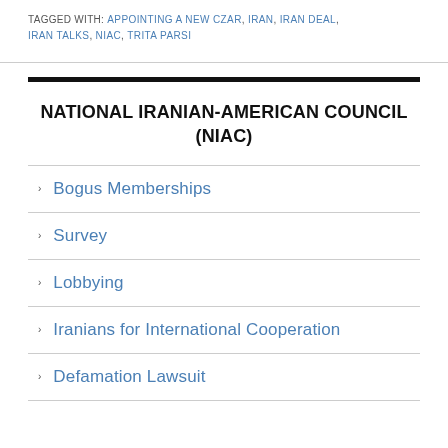TAGGED WITH: APPOINTING A NEW CZAR, IRAN, IRAN DEAL, IRAN TALKS, NIAC, TRITA PARSI
NATIONAL IRANIAN-AMERICAN COUNCIL (NIAC)
Bogus Memberships
Survey
Lobbying
Iranians for International Cooperation
Defamation Lawsuit